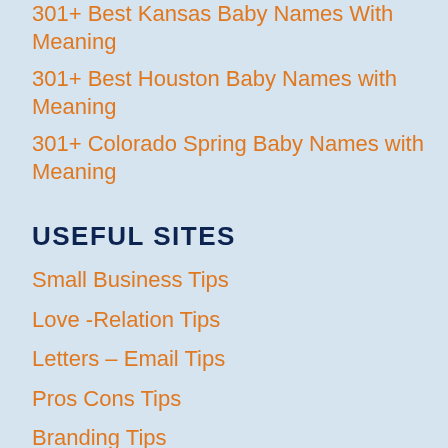301+ Best Kansas Baby Names With Meaning
301+ Best Houston Baby Names with Meaning
301+ Colorado Spring Baby Names with Meaning
USEFUL SITES
Small Business Tips
Love -Relation Tips
Letters – Email Tips
Pros Cons Tips
Branding Tips